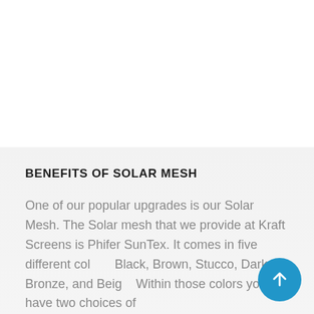BENEFITS OF SOLAR MESH
One of our popular upgrades is our Solar Mesh. The Solar mesh that we provide at Kraft Screens is Phifer SunTex. It comes in five different colors: Black, Brown, Stucco, Dark Bronze, and Beige. Within those colors you have two choices of